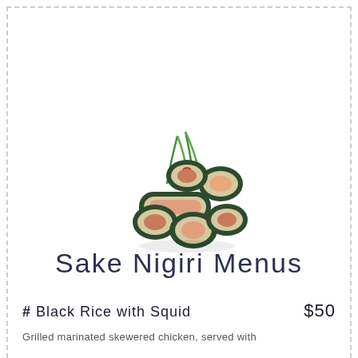[Figure (photo): Sushi rolls (maki) arranged in a cluster with green herb garnish on top, served on white background]
Sake Nigiri Menus
# Black Rice with Squid    $50
Grilled marinated skewered chicken, served with